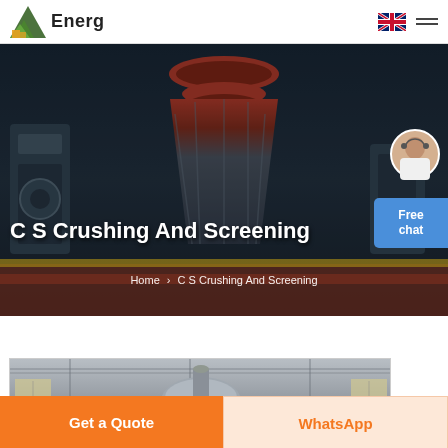Energ [logo with flag and hamburger menu]
[Figure (photo): Industrial crushing and screening machinery hall with large cone crusher in center; several figures posed in front of the equipment in a dramatic industrial setting]
C S Crushing And Screening
Home › C S Crushing And Screening
[Figure (photo): Interior of an industrial building with machinery, Chinese signage on banners, showing screening or processing equipment]
Get a Quote
WhatsApp